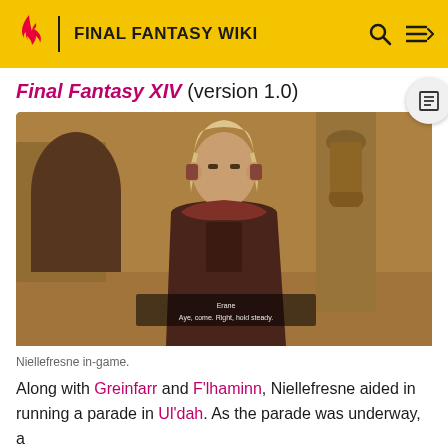FINAL FANTASY WIKI
Final Fantasy XIV (version 1.0)
[Figure (screenshot): In-game screenshot of Niellefresne, a pale-skinned character with light blond hair wearing a dark red/maroon outfit, standing in front of a stone building interior. Subtitle text visible at bottom of screenshot.]
Niellefresne in-game.
Along with Greinfarr and F'lhaminn, Niellefresne aided in running a parade in Ul'dah. As the parade was underway, a